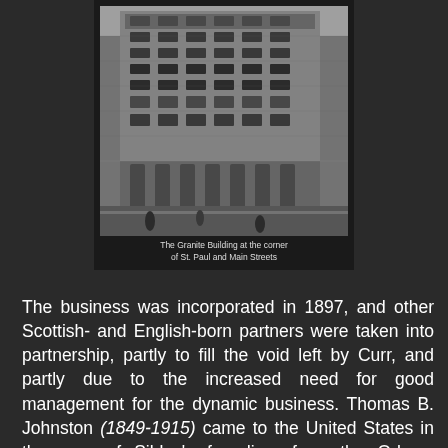[Figure (photo): Black and white historical photograph of The Granite Building at the corner of St. Paul and Main Streets, a multi-story commercial building.]
The Granite Building at the corner of St. Paul and Main Streets
The business was incorporated in 1897, and other Scottish- and English-born partners were taken into partnership, partly to fill the void left by Curr, and partly due to the increased need for good management for the dynamic business. Thomas B. Johnston (1849-1915) came to the United States in the year of Sibley's founding, from the Orkney Islands, and his son Louis Johnston (1881-1963) ran the company from 1930 to 1945. As an aside, Louis Johnston was married to Cora Scovil, the astute businesswoman who